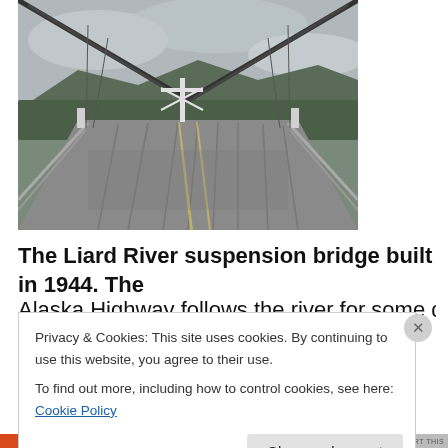[Figure (photo): View from the deck of the Liard River suspension bridge looking straight ahead. The bridge deck is wet, showing yellow lane markings and wooden planks. Two large suspension cables angle down from upper left and upper right toward a white X-braced tower in the middle distance. Dense green forest covers hills in the background under a grey, overcast sky.]
The Liard River suspension bridge built in 1944. The
Alaska Highway follows the river for some distance
Privacy & Cookies: This site uses cookies. By continuing to use this website, you agree to their use.
To find out more, including how to control cookies, see here: Cookie Policy
Close and accept